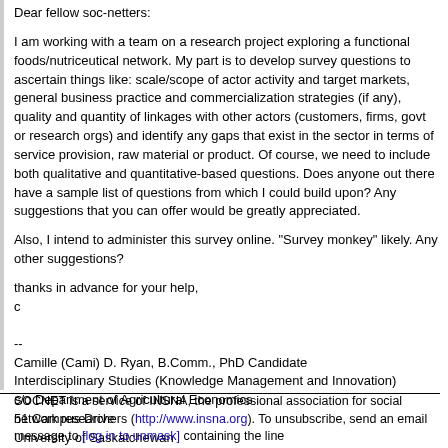Dear fellow soc-netters:
I am working with a team on a research project exploring a functional foods/nutriceutical network. My part is to develop survey questions to ascertain things like: scale/scope of actor activity and target markets, general business practice and commercialization strategies (if any), quality and quantity of linkages with other actors (customers, firms, govt or research orgs) and identify any gaps that exist in the sector in terms of service provision, raw material or product. Of course, we need to include both qualitative and quantitative-based questions. Does anyone out there have a sample list of questions from which I could build upon? Any suggestions that you can offer would be greatly appreciated.
Also, I intend to administer this survey online. "Survey monkey" likely. Any other suggestions?
thanks in advance for your help,
c
--
Camille (Cami) D. Ryan, B.Comm., PhD Candidate
Interdisciplinary Studies (Knowledge Management and Innovation)
c/o Department of Agricultural Economics
51 Campus Drive
University of Saskatchewan
Saskatoon, Saskatchewan CANADA
SOCNET is a service of INSNA, the professional association for social network researchers (http://www.insna.org). To unsubscribe, send an email message to [log in to unmask] containing the line